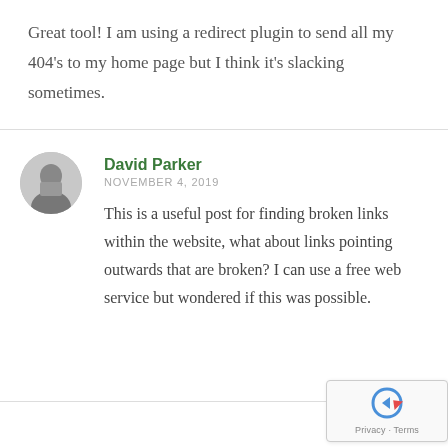Great tool! I am using a redirect plugin to send all my 404's to my home page but I think it's slacking sometimes.
David Parker
NOVEMBER 4, 2019
This is a useful post for finding broken links within the website, what about links pointing outwards that are broken? I can use a free web service but wondered if this was possible.